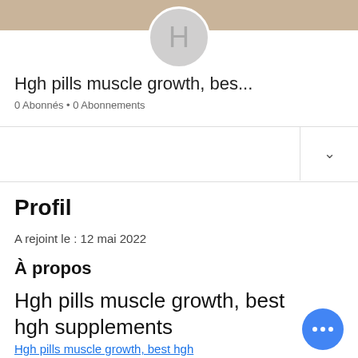[Figure (photo): User avatar circle with letter H on tan banner background]
Hgh pills muscle growth, bes...
0 Abonnés • 0 Abonnements
Profil
A rejoint le : 12 mai 2022
À propos
Hgh pills muscle growth, best hgh supplements
Hgh pills muscle growth, best hgh